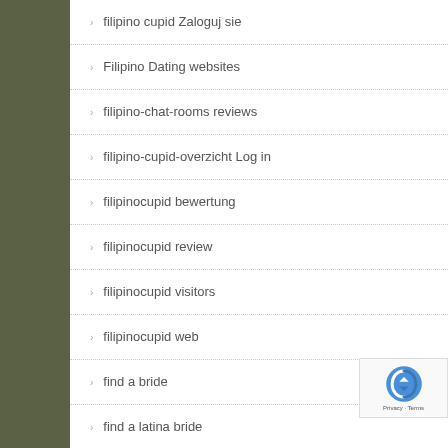filipino cupid Zaloguj sie
Filipino Dating websites
filipino-chat-rooms reviews
filipino-cupid-overzicht Log in
filipinocupid bewertung
filipinocupid review
filipinocupid visitors
filipinocupid web
find a bride
find a latina bride
first payday loans
firstmet bewertung
firstmet gratis
firstmet gratuit
Firstmet visitors
firstmet-recenze MobilnÍ strÁnka